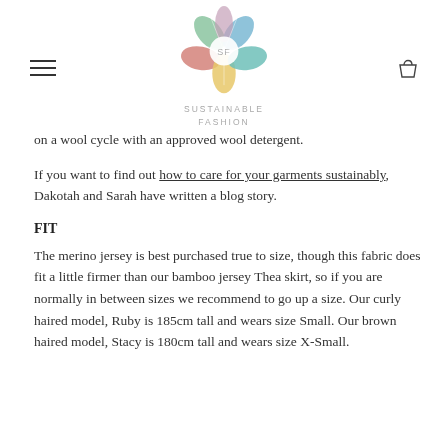SUSTAINABLE FASHION
on a wool cycle with an approved wool detergent.
If you want to find out how to care for your garments sustainably, Dakotah and Sarah have written a blog story.
FIT
The merino jersey is best purchased true to size, though this fabric does fit a little firmer than our bamboo jersey Thea skirt, so if you are normally in between sizes we recommend to go up a size. Our curly haired model, Ruby is 185cm tall and wears size Small. Our brown haired model, Stacy is 180cm tall and wears size X-Small.